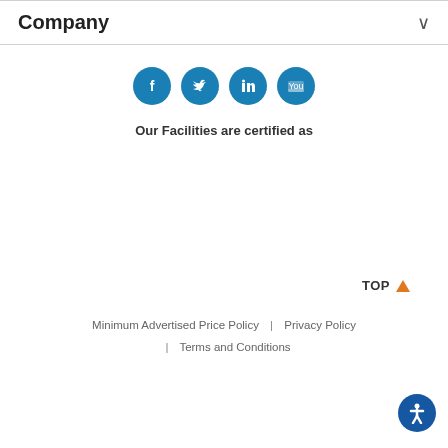Company
[Figure (illustration): Four social media icons (Facebook, Twitter, LinkedIn, YouTube) as white icons on teal/blue circular backgrounds]
Our Facilities are certified as
TOP ▲
Minimum Advertised Price Policy | Privacy Policy | Terms and Conditions